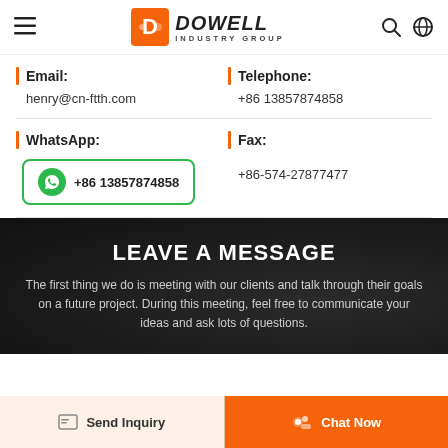Dowell Industry Group – Navigation header with logo, search and language icons
Email: henry@cn-ftth.com
Telephone: +86 13857874858
WhatsApp: +86 13857874858
Fax: +86-574-27877477
LEAVE A MESSAGE
The first thing we do is meeting with our clients and talk through their goals on a future project. During this meeting, feel free to communicate your ideas and ask lots of questions.
Send Inquiry  Chat Now